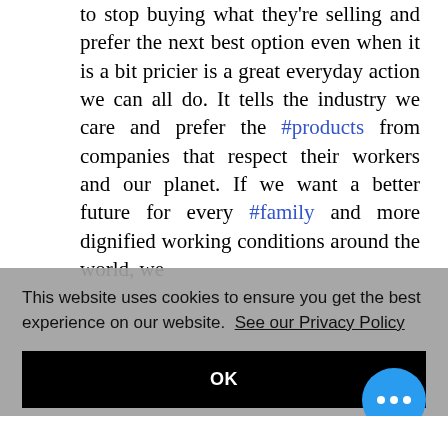to stop buying what they're selling and prefer the next best option even when it is a bit pricier is a great everyday action we can all do. It tells the industry we care and prefer the #products from companies that respect their workers and our planet. If we want a better future for every #family and more dignified working conditions around the world, we
This website uses cookies to ensure you get the best experience on our website. See our Privacy Policy
OK